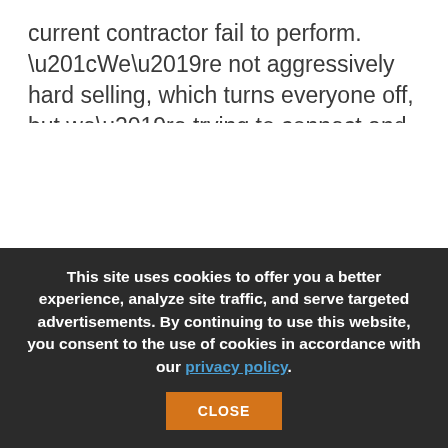current contractor fail to perform. “We’re not aggressively hard selling, which turns everyone off, but we’re trying to connect and be a real resource, and that allows real interaction to occur.”
The company works with associations like the Building Owners and Managers Association and
This site uses cookies to offer you a better experience, analyze site traffic, and serve targeted advertisements. By continuing to use this website, you consent to the use of cookies in accordance with our privacy policy.